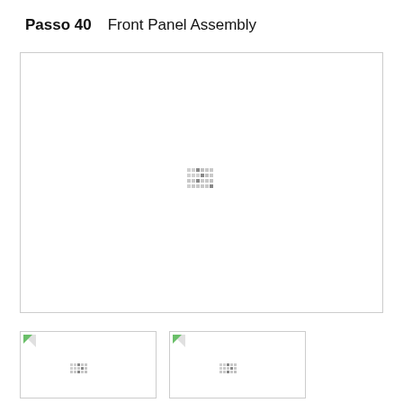Passo 40    Front Panel Assembly
[Figure (illustration): Main assembly diagram area for Front Panel Assembly step 40. Large white box with border containing a small pixel/dot pattern icon in the center indicating a loading or placeholder image for the assembly diagram.]
[Figure (illustration): Thumbnail 1: small document thumbnail with green corner page-turn icon and small pixel dot pattern in center.]
[Figure (illustration): Thumbnail 2: small document thumbnail with green corner page-turn icon and small pixel dot pattern in center.]